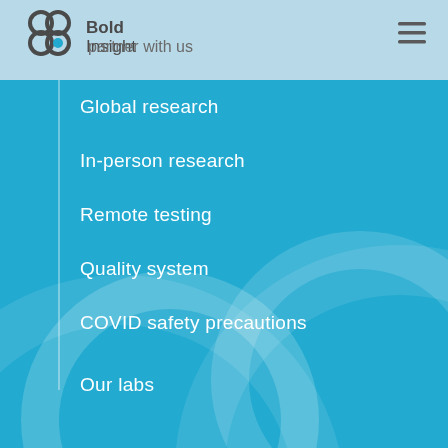[Figure (logo): Bold Insight logo with four overlapping circles and company name]
partner with us
Global research
In-person research
Remote testing
Quality system
COVID safety precautions
Our labs